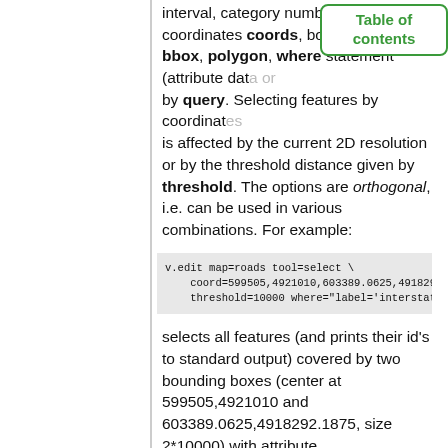interval, category number cat, coordinates coords, bounding box bbox, polygon, where statement (attribute data) or by query. Selecting features by coordinates is affected by the current 2D resolution or by the threshold distance given by threshold. The options are orthogonal, i.e. can be used in various combinations. For example:
v.edit map=roads tool=select \
    coord=599505,4921010,603389.0625,4918292.18
    threshold=10000 where="label='interstate'"
selects all features (and prints their id's to standard output) covered by two bounding boxes (center at 599505,4921010 and 603389.0625,4918292.1875, size 2*10000) with attribute label='interstate'.
NOTES
If no vector features are selected or the flag -b is used, topology is not build at the end.
USAGE